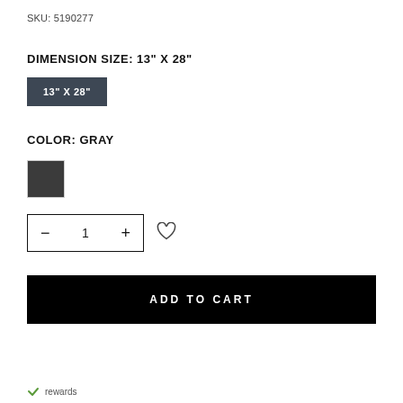SKU: 5190277
DIMENSION SIZE: 13" X 28"
13" X 28"
COLOR: GRAY
[Figure (other): Gray color swatch square]
- 1 +
ADD TO CART
rewards